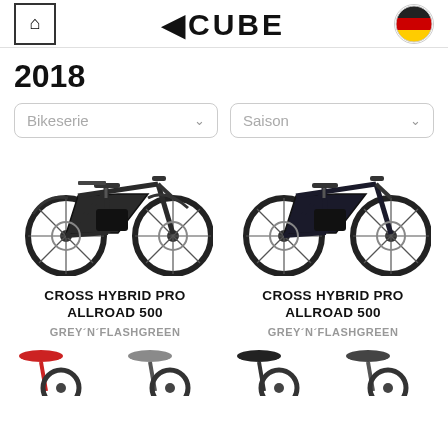CUBE 2018 - home icon, CUBE logo, German flag
2018
Bikeserie [dropdown] | Saison [dropdown]
[Figure (photo): CUBE Cross Hybrid Pro Allroad 500 electric bike, dark grey, left side view]
CROSS HYBRID PRO ALLROAD 500
GREY´N´FLASHGREEN
[Figure (photo): CUBE Cross Hybrid Pro Allroad 500 electric bike, dark grey, right side view]
CROSS HYBRID PRO ALLROAD 500
GREY´N´FLASHGREEN
[Figure (photo): Partial view of two bikes at the bottom of the page, cut off]
[Figure (photo): Partial view of two bikes at the bottom of the page, cut off]